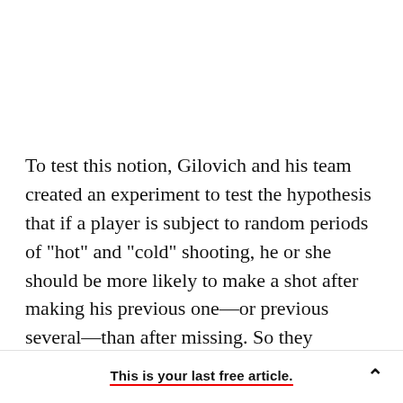To test this notion, Gilovich and his team created an experiment to test the hypothesis that if a player is subject to random periods of "hot" and "cold" shooting, he or she should be more likely to make a shot after making his previous one—or previous several—than after missing. So they gathered the shooting record from the 1980-1981 season of the
This is your last free article.